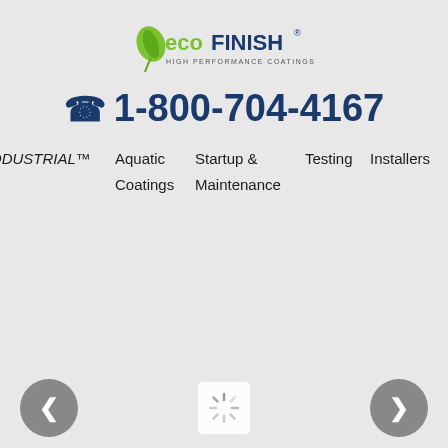[Figure (logo): ecoFINISH High Performance Coatings logo with a green leaf graphic]
1-800-704-4167
ODUSTRIAL™  Aquatic  Startup &  Coatings  Maintenance  Testing  Installers  Contact
[Figure (other): Navigation carousel with left arrow button, loading spinner, and right arrow button]